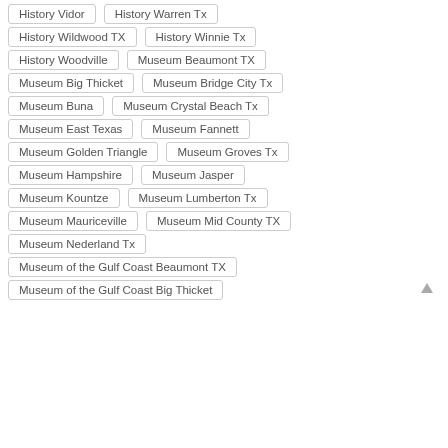History Vidor
History Warren Tx
History Wildwood TX
History Winnie Tx
History Woodville
Museum Beaumont TX
Museum Big Thicket
Museum Bridge City Tx
Museum Buna
Museum Crystal Beach Tx
Museum East Texas
Museum Fannett
Museum Golden Triangle
Museum Groves Tx
Museum Hampshire
Museum Jasper
Museum Kountze
Museum Lumberton Tx
Museum Mauriceville
Museum Mid County TX
Museum Nederland Tx
Museum of the Gulf Coast Beaumont TX
Museum of the Gulf Coast Big Thicket